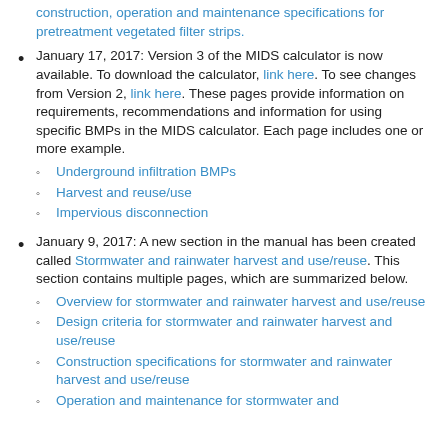construction, operation and maintenance specifications for pretreatment vegetated filter strips. (link)
January 17, 2017: Version 3 of the MIDS calculator is now available. To download the calculator, link here. To see changes from Version 2, link here. These pages provide information on requirements, recommendations and information for using specific BMPs in the MIDS calculator. Each page includes one or more example.
Underground infiltration BMPs
Harvest and reuse/use
Impervious disconnection
January 9, 2017: A new section in the manual has been created called Stormwater and rainwater harvest and use/reuse. This section contains multiple pages, which are summarized below.
Overview for stormwater and rainwater harvest and use/reuse
Design criteria for stormwater and rainwater harvest and use/reuse
Construction specifications for stormwater and rainwater harvest and use/reuse
Operation and maintenance for stormwater and